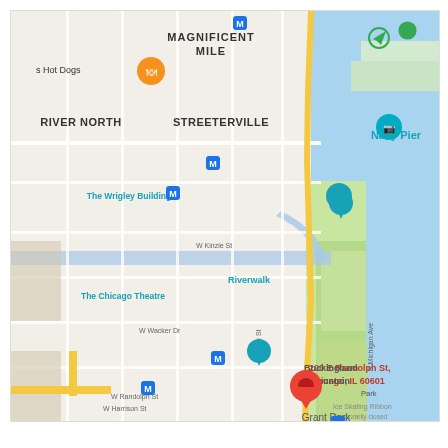[Figure (map): Google Maps screenshot showing downtown Chicago area including River North, Magnificent Mile, Streeterville, Chicago Loop, and Grant Park neighborhoods. A red location pin marks 200 E Randolph St, Chicago, IL 60601. Notable landmarks shown include The Wrigley Building, The Chicago Theatre, Riverwalk, Navy Pier, The Art Institute of Chicago, Buckingham Fountain, and Grant Park. Multiple Metro (M) station markers, a bus stop marker, and various point-of-interest icons are visible. Lake Michigan is shown to the right in blue.]